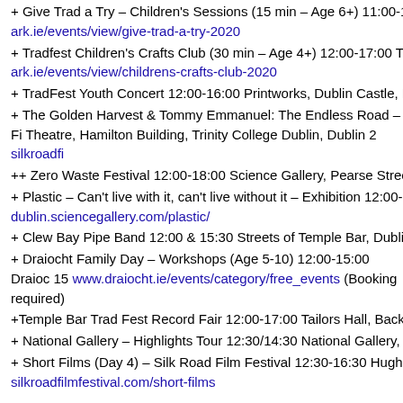+ Give Trad a Try – Children's Sessions (15 min – Age 6+) 11:00-13
ark.ie/events/view/give-trad-a-try-2020
+ Tradfest Children's Crafts Club (30 min – Age 4+) 12:00-17:00 The
ark.ie/events/view/childrens-crafts-club-2020
+ TradFest Youth Concert 12:00-16:00 Printworks, Dublin Castle, Da
+ The Golden Harvest & Tommy Emmanuel: The Endless Road – Fi Theatre, Hamilton Building, Trinity College Dublin, Dublin 2 silkroadfi
++ Zero Waste Festival 12:00-18:00 Science Gallery, Pearse Street.
+ Plastic – Can't live with it, can't live without it – Exhibition 12:00-18
dublin.sciencegallery.com/plastic/
+ Clew Bay Pipe Band 12:00 & 15:30 Streets of Temple Bar, Dublin
+ Draiocht Family Day – Workshops (Age 5-10) 12:00-15:00 Draioc 15 www.draiocht.ie/events/category/free_events (Booking required)
+Temple Bar Trad Fest Record Fair 12:00-17:00 Tailors Hall, Back L
+ National Gallery – Highlights Tour 12:30/14:30 National Gallery, M
+ Short Films (Day 4) – Silk Road Film Festival 12:30-16:30 Hugh L
silkroadfilmfestival.com/short-films
[Figure (other): Free Delivery on all Books advertisement image with link]
+ Dumplings: Wrapping Up a Long History – Talk – Chinese New Ye